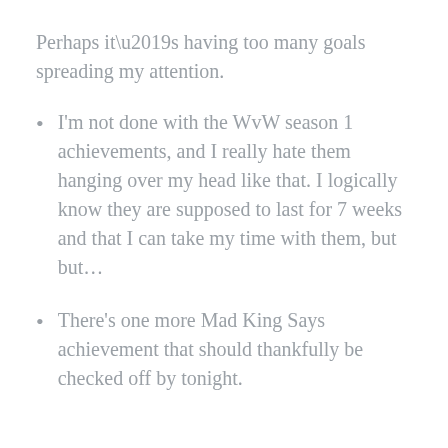Perhaps it’s having too many goals spreading my attention.
I’m not done with the WvW season 1 achievements, and I really hate them hanging over my head like that. I logically know they are supposed to last for 7 weeks and that I can take my time with them, but but…
There’s one more Mad King Says achievement that should thankfully be checked off by tonight.